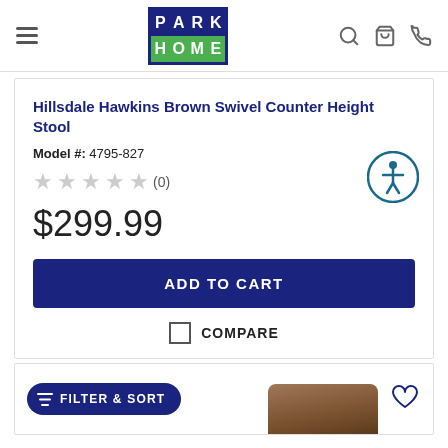Park Home logo with navigation icons
Hillsdale Hawkins Brown Swivel Counter Height Stool
Model #: 4795-827
★★★★★ (0)
$299.99
ADD TO CART
COMPARE
[Figure (screenshot): Bottom of page showing FILTER & SORT button and product thumbnail image of a brown stool with heart/wishlist icon]